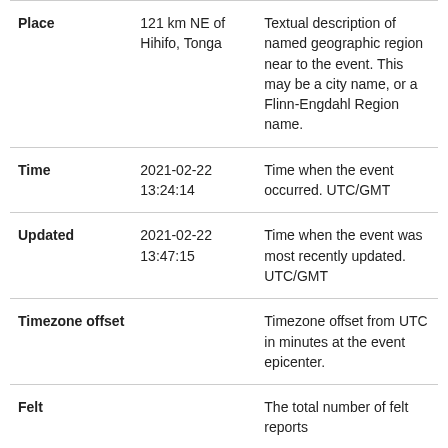| Field | Example Value | Description |
| --- | --- | --- |
| Place | 121 km NE of Hihifo, Tonga | Textual description of named geographic region near to the event. This may be a city name, or a Flinn-Engdahl Region name. |
| Time | 2021-02-22 13:24:14 | Time when the event occurred. UTC/GMT |
| Updated | 2021-02-22 13:47:15 | Time when the event was most recently updated. UTC/GMT |
| Timezone offset |  | Timezone offset from UTC in minutes at the event epicenter. |
| Felt |  | The total number of felt reports |
| CDI |  | The maximum reported intensity for the event. |
|  |  | The maximum estimated |